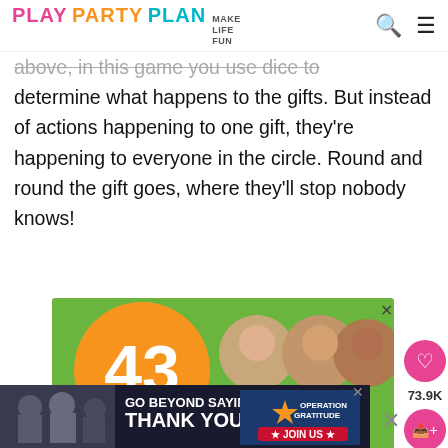PLAY PARTY PLAN | MAKE LIFE FUN
above, in this game you use dice to determine what happens to the gifts. But instead of actions happening to one gift, they're happening to everyone in the circle. Round and round the gift goes, where they'll stop nobody knows!
[Figure (photo): Advertisement banner: green and orange background with '43 CHILDREN A Day Are Diagnosed With Cancer in the U.S.' with photos of three children]
[Figure (photo): Advertisement banner: Operation Gratitude 'GO BEYOND SAYING THANK YOU - JOIN US']